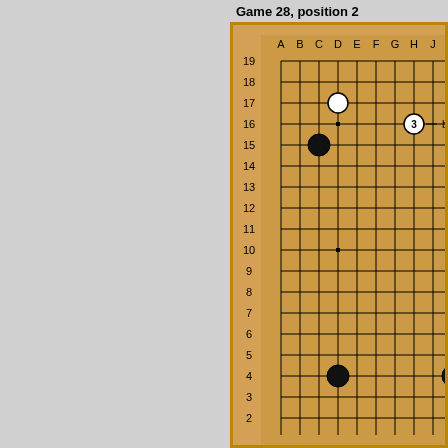Game 28, position 2
[Figure (illustration): Go board (partial, cropped at right and bottom) showing columns A-K and rows 2-19. Stones: White circle at D17, Black circle at C15, White numbered stone '3' at H16, label 'b' at K16, Black circle at D4. Star points at D10, K10 (partial). The board has a tan/orange background with black grid lines.]